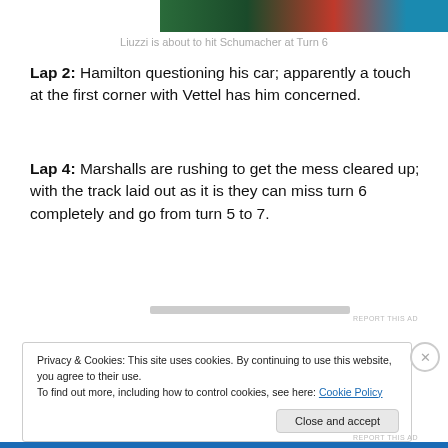[Figure (photo): Partial top of a racing photo showing cars on track with green, red, and blue colors]
Liuzzi is about to hit Schumacher at Turn 6
Lap 2: Hamilton questioning his car; apparently a touch at the first corner with Vettel has him concerned.
Lap 4: Marshalls are rushing to get the mess cleared up; with the track laid out as it is they can miss turn 6 completely and go from turn 5 to 7.
Privacy & Cookies: This site uses cookies. By continuing to use this website, you agree to their use.
To find out more, including how to control cookies, see here: Cookie Policy